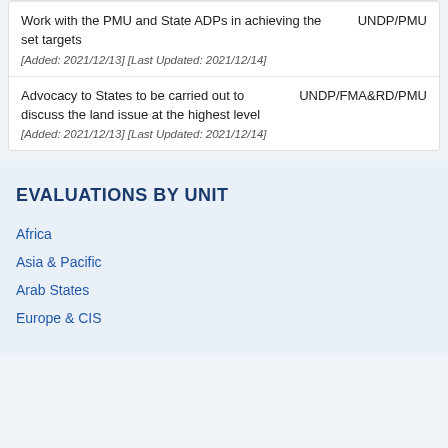Work with the PMU and State ADPs in achieving the set targets
[Added: 2021/12/13] [Last Updated: 2021/12/14]
UNDP/PMU
Advocacy to States to be carried out to discuss the land issue at the highest level
[Added: 2021/12/13] [Last Updated: 2021/12/14]
UNDP/FMA&RD/PMU
EVALUATIONS BY UNIT
Africa
Asia & Pacific
Arab States
Europe & CIS